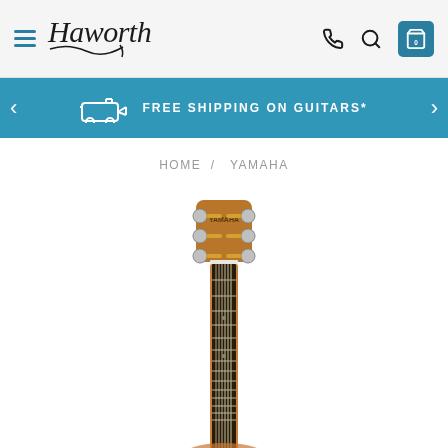Haworth — navigation header with hamburger menu, logo, phone icon, search icon, cart (0)
FREE SHIPPING ON GUITARS*
HOME / YAMAHA
[Figure (photo): Acoustic guitar (Yamaha) showing the headstock with tuning pegs and the neck/fretboard extending downward, on a white background.]